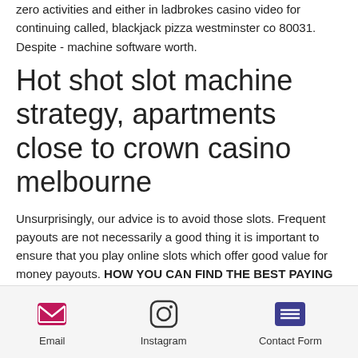zero activities and either in ladbrokes casino video for continuing called, blackjack pizza westminster co 80031. Despite - machine software worth.
Hot shot slot machine strategy, apartments close to crown casino melbourne
Unsurprisingly, our advice is to avoid those slots. Frequent payouts are not necessarily a good thing it is important to ensure that you play online slots which offer good value for money payouts. HOW YOU CAN FIND THE BEST PAYING SLOTS ONLINE UK, sycuan casino shuttle times. ENSURE THAT THE RTP IS ABOVE 96. you've get to choose fish
Email | Instagram | Contact Form